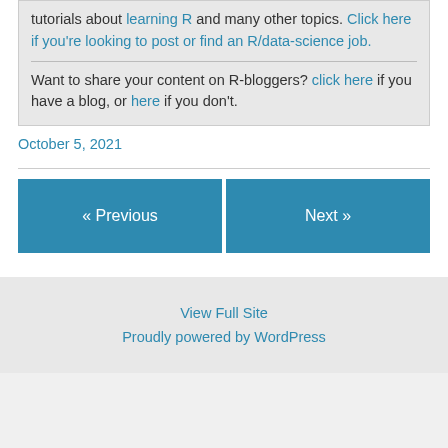tutorials about learning R and many other topics. Click here if you're looking to post or find an R/data-science job.
Want to share your content on R-bloggers? click here if you have a blog, or here if you don't.
October 5, 2021
« Previous
Next »
View Full Site
Proudly powered by WordPress